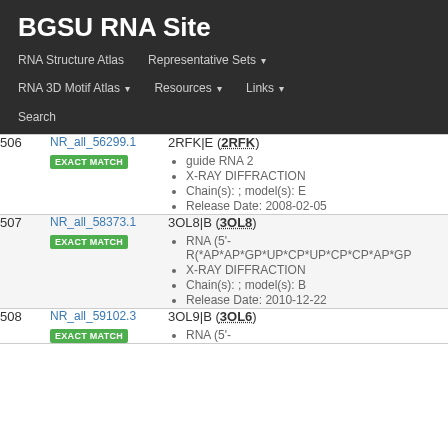BGSU RNA Site
RNA Structure Atlas   Representative Sets ▾   RNA 3D Motif Atlas ▾   Resources ▾   Links ▾   Search
| # | ID | Entry |
| --- | --- | --- |
| 506 | NR_all_56299.1 EXACT MATCH | 2RFK|E (2RFK)
• guide RNA 2
• X-RAY DIFFRACTION
• Chain(s): ; model(s): E
• Release Date: 2008-02-05 |
| 507 | NR_all_58373.1 EXACT MATCH | 3OL8|B (3OL8)
• RNA (5'-R(*AP*AP*GP*UP*CP*UP*CP*CP*AP*GP...
• X-RAY DIFFRACTION
• Chain(s): ; model(s): B
• Release Date: 2010-12-22 |
| 508 | NR_all_59102.3 EXACT MATCH | 3OL9|B (3OL6)
• RNA (5'-... |